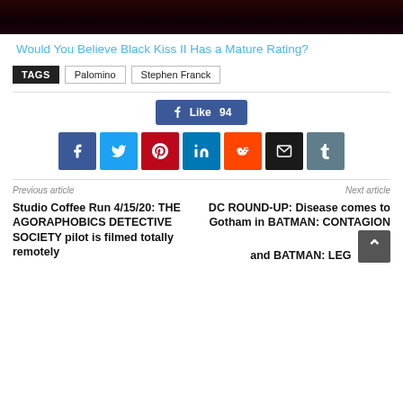[Figure (photo): Partial top portion of a dark comic book cover image with red and dark tones]
Would You Believe Black Kiss II Has a Mature Rating?
TAGS  Palomino  Stephen Franck
[Figure (infographic): Facebook Like button showing 94 likes, and social sharing buttons for Facebook, Twitter, Pinterest, LinkedIn, Reddit, Email, and Tumblr]
Previous article
Next article
Studio Coffee Run 4/15/20: THE AGORAPHOBICS DETECTIVE SOCIETY pilot is filmed totally remotely
DC ROUND-UP: Disease comes to Gotham in BATMAN: CONTAGION and BATMAN: LEG